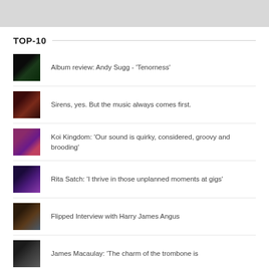[Figure (photo): Gray banner image at top of page]
TOP-10
Album review: Andy Sugg - 'Tenorness'
Sirens, yes. But the music always comes first.
Koi Kingdom: 'Our sound is quirky, considered, groovy and brooding'
Rita Satch: 'I thrive in those unplanned moments at gigs'
Flipped Interview with Harry James Angus
James Macaulay: 'The charm of the trombone is